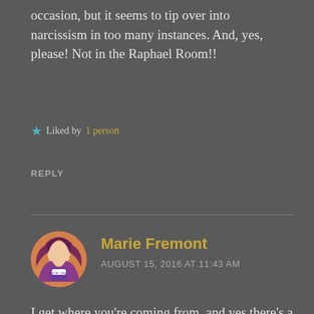occasion, but it seems to tip over into narcissism in too many instances. And, yes, please! Not in the Raphael Room!!
Liked by 1 person
REPLY
[Figure (photo): Circular avatar of Marie Fremont with illustrated style, colorful hair]
Marie Fremont
AUGUST 15, 2016 AT 11:43 AM
I get where you're coming from, and yes there's a time and a place for selfies that some younger folks need to learn. But also consider the selfie (which, btw, is how it's spelled in the singular) as an adaptation to our current situation. Gone are the days of packing four or five disposable cameras that cost $5 each for an international trip—now we take photos with $700